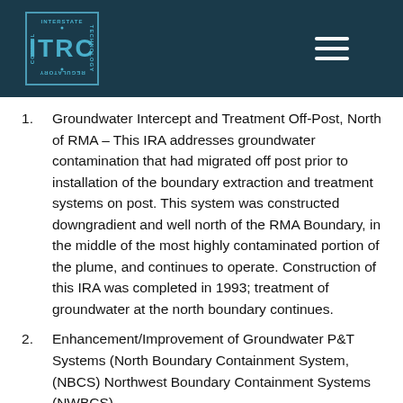ITRC Interstate Technology Regulatory Council logo and navigation
Groundwater Intercept and Treatment Off-Post, North of RMA – This IRA addresses groundwater contamination that had migrated off post prior to installation of the boundary extraction and treatment systems on post. This system was constructed downgradient and well north of the RMA Boundary, in the middle of the most highly contaminated portion of the plume, and continues to operate. Construction of this IRA was completed in 1993; treatment of groundwater at the north boundary continues.
Enhancement/Improvement of Groundwater P&T Systems (North Boundary Containment System, (NBCS) Northwest Boundary Containment Systems (NWBCS),